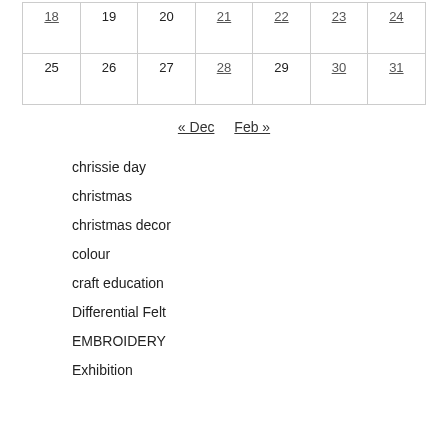| 18 | 19 | 20 | 21 | 22 | 23 | 24 |
| 25 | 26 | 27 | 28 | 29 | 30 | 31 |
« Dec   Feb »
chrissie day
christmas
christmas decor
colour
craft education
Differential Felt
EMBROIDERY
Exhibition